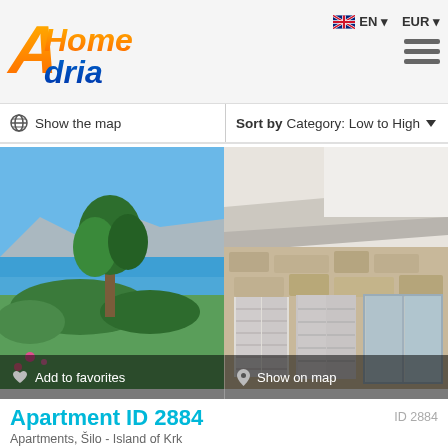[Figure (logo): AHomeAdria logo with orange and blue stylized lettering]
EN ▼   EUR ▼
[Figure (other): Hamburger menu icon (three horizontal lines)]
🌐 Show the map
Sort by Category: Low to High ▼
[Figure (photo): Left photo: outdoor coastal view with tree, blue sea, mountains in background, garden with pink flowers. Right photo: exterior of stone and white apartment building with shuttered windows and glass doors.]
♥ Add to favorites
📍 Show on map
Apartment ID 2884
ID 2884
Apartments, Šilo - Island of Krk